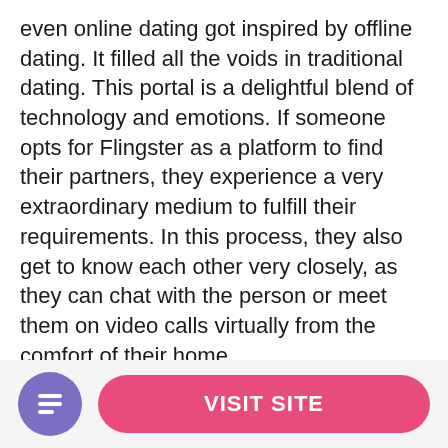even online dating got inspired by offline dating. It filled all the voids in traditional dating. This portal is a delightful blend of technology and emotions. If someone opts for Flingster as a platform to find their partners, they experience a very extraordinary medium to fulfill their requirements. In this process, they also get to know each other very closely, as they can chat with the person or meet them on video calls virtually from the comfort of their home.
Flingster comes with text and video calling options to make the flings interactive. It also possesses an instant language translator that serves as a beneficial tool when it comes to having proper two-way communication. The graphics and the user interface